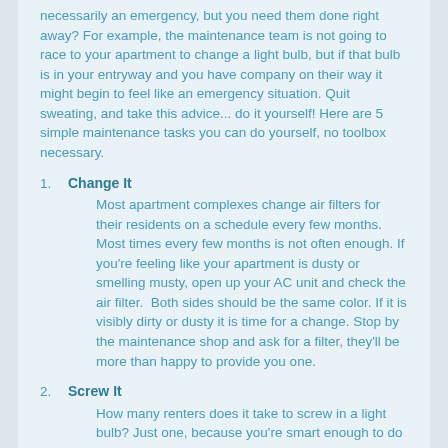necessarily an emergency, but you need them done right away? For example, the maintenance team is not going to race to your apartment to change a light bulb, but if that bulb is in your entryway and you have company on their way it might begin to feel like an emergency situation. Quit sweating, and take this advice... do it yourself! Here are 5 simple maintenance tasks you can do yourself, no toolbox necessary.
1. Change It
Most apartment complexes change air filters for their residents on a schedule every few months. Most times every few months is not often enough. If you're feeling like your apartment is dusty or smelling musty, open up your AC unit and check the air filter.  Both sides should be the same color. If it is visibly dirty or dusty it is time for a change. Stop by the maintenance shop and ask for a filter, they'll be more than happy to provide you one.
2. Screw It
How many renters does it take to screw in a light bulb? Just one, because you're smart enough to do it yourself. Let maintenance worry about bigger